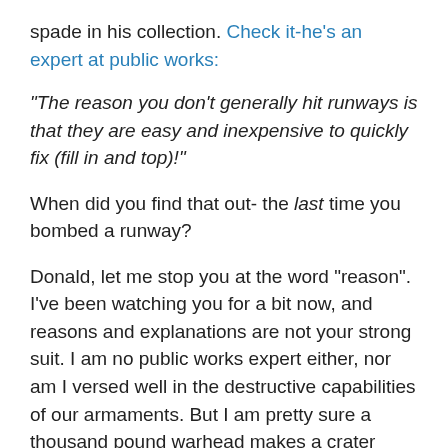spade in his collection. Check it-he's an expert at public works:
“The reason you don’t generally hit runways is that they are easy and inexpensive to quickly fix (fill in and top)!”
When did you find that out- the last time you bombed a runway?
Donald, let me stop you at the word “reason”. I’ve been watching you for a bit now, and reasons and explanations are not your strong suit. I am no public works expert either, nor am I versed well in the destructive capabilities of our armaments. But I am pretty sure a thousand pound warhead makes a crater somewhat bigger than the ones you and I occasionally run over when we drive. Furthermore, a jet takes off at a rather high speed and I’m